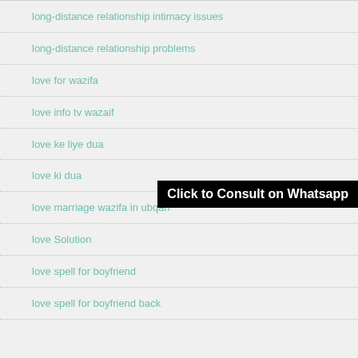long-distance relationship intimacy issues
long-distance relationship problems
love for wazifa
love info tv wazaif
love ke liye dua
love ki dua
love marriage wazifa in ubqari
love Solution
love spell for boyfriend
love spell for boyfriend back
Click to Consult on Whatsapp